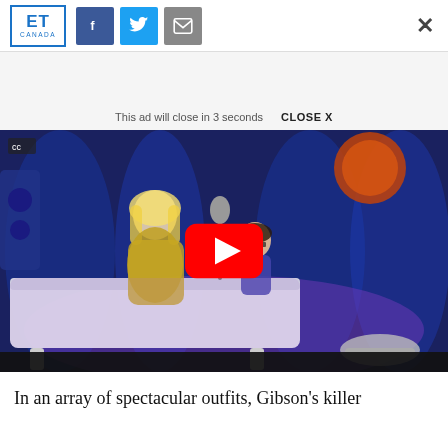ET Canada | Facebook | Twitter | Email | X
This ad will close in 3 seconds   CLOSE X
[Figure (screenshot): Video thumbnail showing a woman in a sparkly outfit standing next to a child at a white grand piano on a stage with blue curtains and purple lighting. A YouTube play button overlay is centered on the image.]
In an array of spectacular outfits, Gibson's killer